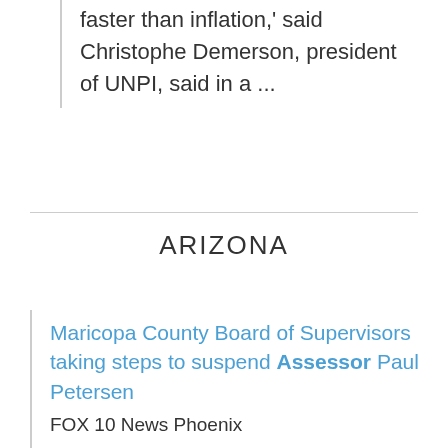faster than inflation,' said Christophe Demerson, president of UNPI, said in a ...
ARIZONA
Maricopa County Board of Supervisors taking steps to suspend Assessor Paul Petersen
FOX 10 News Phoenix
The Board voted unanimously Wednesday to notify Assessor Paul